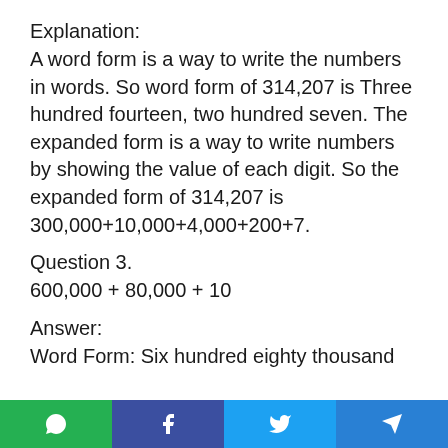Explanation:
A word form is a way to write the numbers in words. So word form of 314,207 is Three hundred fourteen, two hundred seven. The expanded form is a way to write numbers by showing the value of each digit. So the expanded form of 314,207 is 300,000+10,000+4,000+200+7.
Question 3.
600,000 + 80,000 + 10
Answer:
Word Form: Six hundred eighty thousand